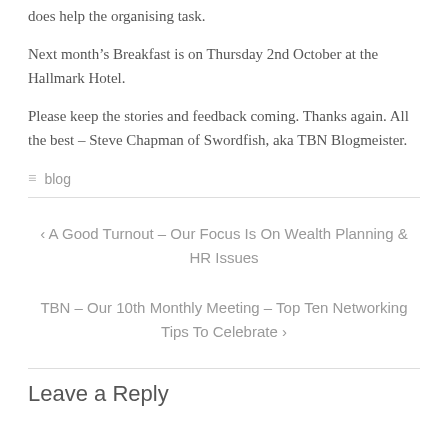does help the organising task.
Next month's Breakfast is on Thursday 2nd October at the Hallmark Hotel.
Please keep the stories and feedback coming. Thanks again. All the best – Steve Chapman of Swordfish, aka TBN Blogmeister.
≡ blog
‹ A Good Turnout – Our Focus Is On Wealth Planning & HR Issues
TBN – Our 10th Monthly Meeting – Top Ten Networking Tips To Celebrate ›
Leave a Reply